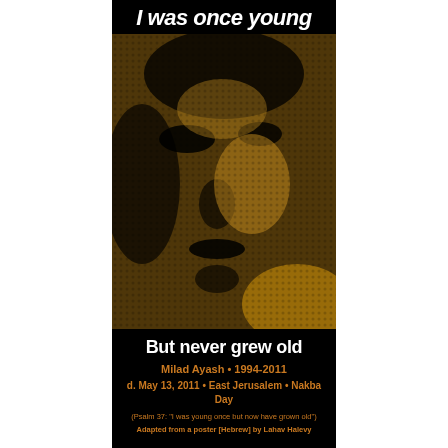I was once young
[Figure (photo): Halftone-style portrait of a young person rendered in golden-brown and black tones, showing a face with eyes, nose, and mouth visible]
But never grew old
Milad Ayash • 1994-2011
d. May 13, 2011 • East Jerusalem • Nakba Day
(Psalm 37: "I was young once but now have grown old")
Adapted from a poster [Hebrew] by Lahav Halevy